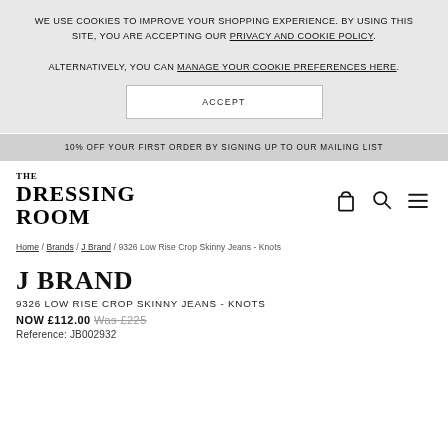WE USE COOKIES TO IMPROVE YOUR SHOPPING EXPERIENCE. BY USING THIS SITE, YOU ARE ACCEPTING OUR PRIVACY AND COOKIE POLICY. ALTERNATIVELY, YOU CAN MANAGE YOUR COOKIE PREFERENCES HERE.
ACCEPT
10% OFF YOUR FIRST ORDER BY SIGNING UP TO OUR MAILING LIST
[Figure (logo): The Dressing Room logo in serif font]
Home / Brands / J Brand / 9326 Low Rise Crop Skinny Jeans - Knots
J BRAND
9326 LOW RISE CROP SKINNY JEANS - KNOTS
NOW £112.00 Was £225
Reference: JB002932